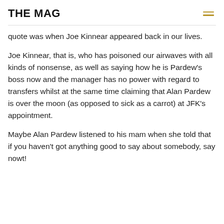THE MAG
quote was when Joe Kinnear appeared back in our lives.
Joe Kinnear, that is, who has poisoned our airwaves with all kinds of nonsense, as well as saying how he is Pardew’s boss now and the manager has no power with regard to transfers whilst at the same time claiming that Alan Pardew is over the moon (as opposed to sick as a carrot) at JFK’s appointment.
Maybe Alan Pardew listened to his mam when she told that if you haven’t got anything good to say about somebody, say nowt!